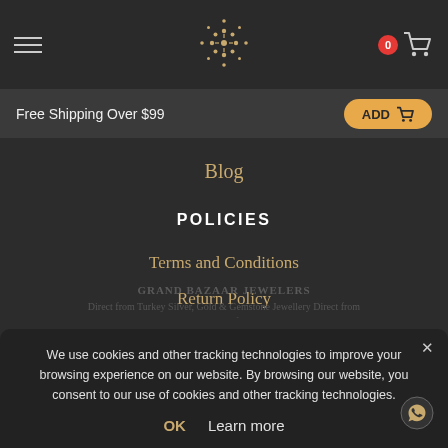[Figure (screenshot): Website header with hamburger menu, decorative star/snowflake logo in gold, and cart icon with red badge showing 0]
Free Shipping Over $99
ADD
Blog
POLICIES
Terms and Conditions
Return Policy
Privacy Notice
Security Notice
GRAND BAZAAR JEWELERS Direct from Turkey Silver, Gold & Gemstone Jewellery Direct from Jewelry Manufacturers...
We use cookies and other tracking technologies to improve your browsing experience on our website. By browsing our website, you consent to our use of cookies and other tracking technologies.
OK   Learn more